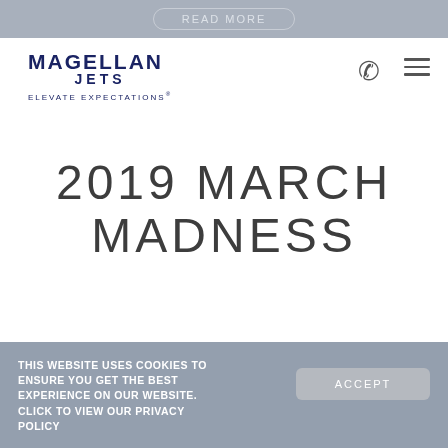[Figure (screenshot): READ MORE button with rounded border on grey background banner]
[Figure (logo): Magellan Jets logo with text MAGELLAN JETS ELEVATE EXPECTATIONS in dark navy blue]
2019 MARCH MADNESS
THIS WEBSITE USES COOKIES TO ENSURE YOU GET THE BEST EXPERIENCE ON OUR WEBSITE. CLICK TO VIEW OUR PRIVACY POLICY
ACCEPT